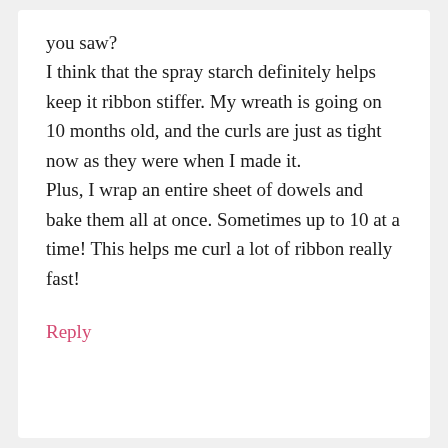you saw? I think that the spray starch definitely helps keep it ribbon stiffer. My wreath is going on 10 months old, and the curls are just as tight now as they were when I made it. Plus, I wrap an entire sheet of dowels and bake them all at once. Sometimes up to 10 at a time! This helps me curl a lot of ribbon really fast!
Reply